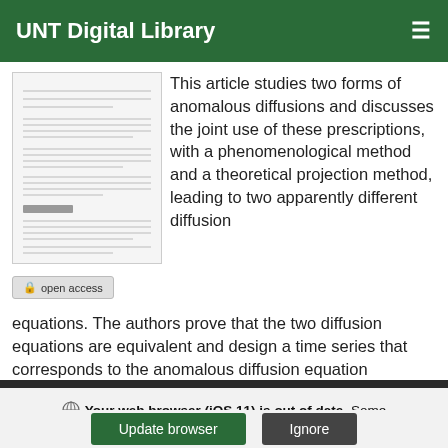UNT Digital Library
[Figure (photo): Thumbnail preview of a document page showing text columns]
open access
This article studies two forms of anomalous diffusions and discusses the joint use of these prescriptions, with a phenomenological method and a theoretical projection method, leading to two apparently different diffusion equations. The authors prove that the two diffusion equations are equivalent and design a time series that corresponds to the anomalous diffusion equation proposed.
Your web browser (iOS 11) is out of date. Some features on this site may not work.